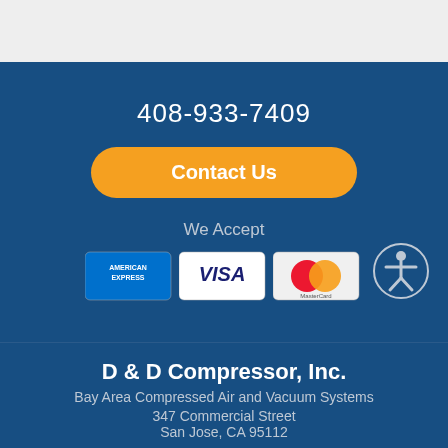408-933-7409
Contact Us
We Accept
[Figure (other): Payment method icons: American Express, Visa, Mastercard]
[Figure (other): Accessibility icon - person in circle]
D & D Compressor, Inc.
Bay Area Compressed Air and Vacuum Systems
347 Commercial Street
San Jose, CA 95112